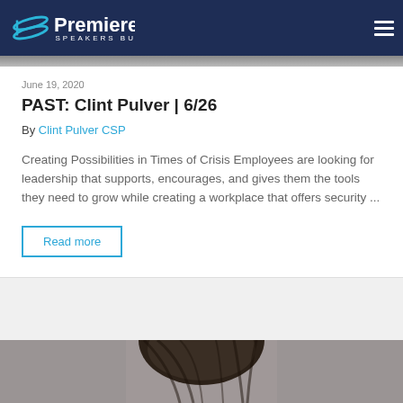Premiere Speakers Bureau
June 19, 2020
PAST: Clint Pulver | 6/26
By Clint Pulver CSP
Creating Possibilities in Times of Crisis Employees are looking for leadership that supports, encourages, and gives them the tools they need to grow while creating a workplace that offers security ...
Read more
[Figure (photo): Partial photo of a person with dark hair, cropped at the bottom of the page]